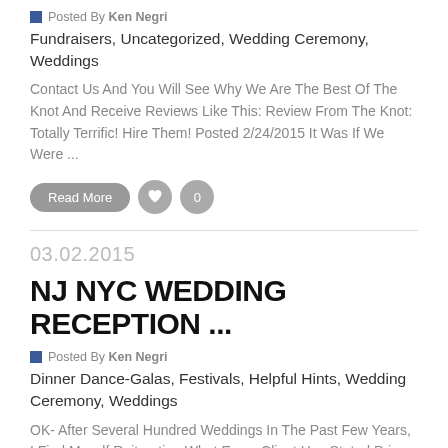Posted By Ken Negri
Fundraisers, Uncategorized, Wedding Ceremony, Weddings
Contact Us And You Will See Why We Are The Best Of The Knot And Receive Reviews Like This: Review From The Knot:  Totally Terrific! Hire Them! Posted 2/24/2015 It Was If We Were ...
Read More | 0
03.02.2015
NJ NYC WEDDING RECEPTION ...
Posted By Ken Negri
Dinner Dance-Galas, Festivals, Helpful Hints, Wedding Ceremony, Weddings
OK- After Several Hundred Weddings In The Past Few Years, I Find Myself Reiterating What Every Client Has Stated Prior To The Big Day. "We Want A Party, We Want Everyone Havi...